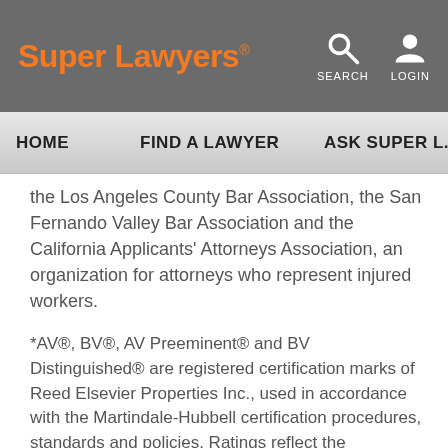Super Lawyers® — SEARCH  LOGIN
HOME   FIND A LAWYER   ASK SUPER L...
the Los Angeles County Bar Association, the San Fernando Valley Bar Association and the California Applicants' Attorneys Association, an organization for attorneys who represent injured workers.
*AV®, BV®, AV Preeminent® and BV Distinguished® are registered certification marks of Reed Elsevier Properties Inc., used in accordance with the Martindale-Hubbell certification procedures, standards and policies. Ratings reflect the anonymous opinions of members of the bar and the judiciary. Martindale-Hubbell Peer Review Ratings fall into two categories –